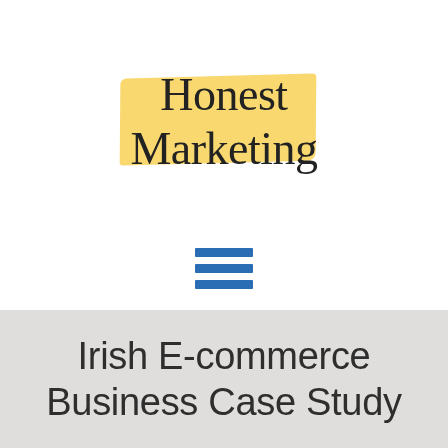[Figure (logo): Honest Marketing logo with yellow brush stroke highlight behind serif text reading 'Honest Marketing' on two lines]
[Figure (other): Three horizontal blue bars forming a hamburger menu icon]
Irish E-commerce Business Case Study